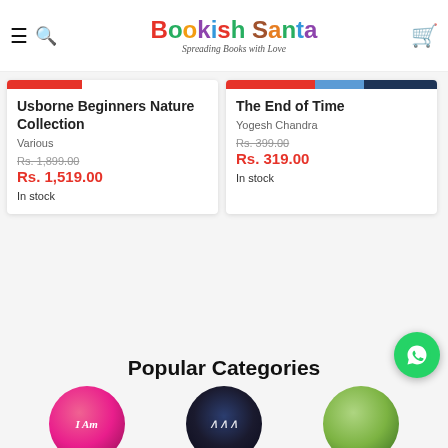Bookish Santa — Spreading Books with Love
[Figure (illustration): Product card — Usborne Beginners Nature Collection by Various, Rs. 1,899.00 original price, Rs. 1,519.00 sale price, In stock]
[Figure (illustration): Product card — The End of Time by Yogesh Chandra, Rs. 399.00 original price, Rs. 319.00 sale price, In stock]
Popular Categories
[Figure (illustration): Three circular category images at bottom of page: pink circle with 'I Am' text, dark circle with 'Ana' stylized text, green textured circle]